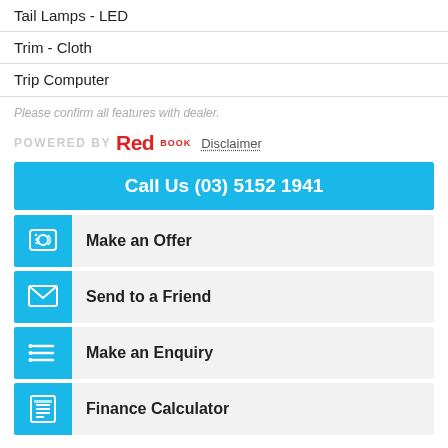Tail Lamps - LED
Trim - Cloth
Trip Computer
Please confirm all features with dealer.
[Figure (logo): POWERED BY RedBook logo with Disclaimer link]
Call Us (03) 5152 1941
Make an Offer
Send to a Friend
Make an Enquiry
Finance Calculator